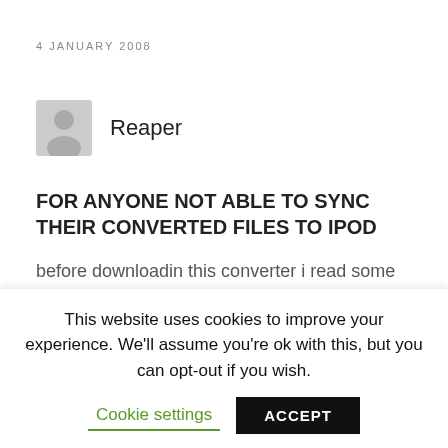4 JANUARY 2008
Reaper
FOR ANYONE NOT ABLE TO SYNC THEIR CONVERTED FILES TO IPOD
before downloadin this converter i read some of the comments bout how ppl cudnt sync it with their ipods. i didnt think it would happen to me but it did. when it said that some files could not be synced because this ipod couldnt play them a little...
This website uses cookies to improve your experience. We'll assume you're ok with this, but you can opt-out if you wish.
Cookie settings
ACCEPT